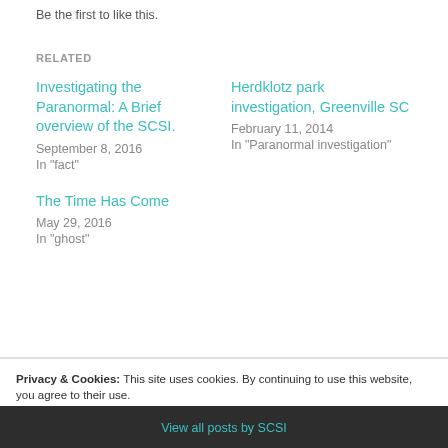Be the first to like this.
RELATED
Investigating the Paranormal: A Brief overview of the SCSI.
September 8, 2016
In "fact"
Herdklotz park investigation, Greenville SC
February 11, 2014
In "Paranormal investigation"
The Time Has Come
May 29, 2016
In "ghost"
Privacy & Cookies: This site uses cookies. By continuing to use this website, you agree to their use.
To find out more, including how to control cookies, see here: Cookie Policy
Close and accept
View all posts by SCSI